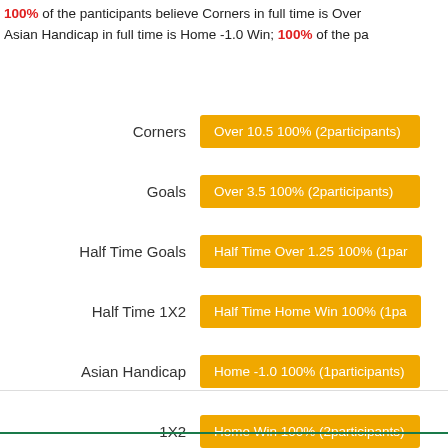100% of the panticipants believe Corners in full time is Over Asian Handicap in full time is Home -1.0 Win; 100% of the pa
| Category | Prediction |
| --- | --- |
| Corners | Over 10.5 100% (2participants) |
| Goals | Over 3.5 100% (2participants) |
| Half Time Goals | Half Time Over 1.25 100% (1par |
| Half Time 1X2 | Half Time Home Win 100% (1pa |
| Asian Handicap | Home -1.0 100% (1participants) |
| 1X2 | Home Win 100% (2participants) |